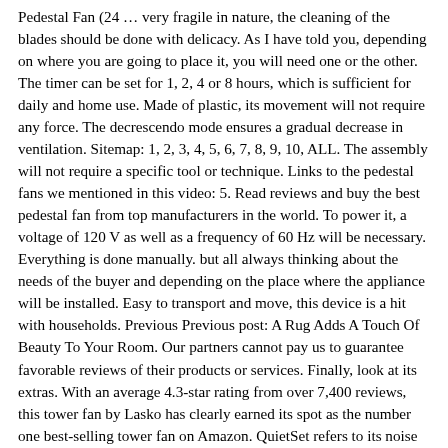Pedestal Fan (24 … very fragile in nature, the cleaning of the blades should be done with delicacy. As I have told you, depending on where you are going to place it, you will need one or the other. The timer can be set for 1, 2, 4 or 8 hours, which is sufficient for daily and home use. Made of plastic, its movement will not require any force. The decrescendo mode ensures a gradual decrease in ventilation. Sitemap: 1, 2, 3, 4, 5, 6, 7, 8, 9, 10, ALL. The assembly will not require a specific tool or technique. Links to the pedestal fans we mentioned in this video: 5. Read reviews and buy the best pedestal fan from top manufacturers in the world. To power it, a voltage of 120 V as well as a frequency of 60 Hz will be necessary. Everything is done manually. but all always thinking about the needs of the buyer and depending on the place where the appliance will be installed. Easy to transport and move, this device is a hit with households. Previous Previous post: A Rug Adds A Touch Of Beauty To Your Room. Our partners cannot pay us to guarantee favorable reviews of their products or services. Finally, look at its extras. With an average 4.3-star rating from over 7,400 reviews, this tower fan by Lasko has clearly earned its spot as the number one best-selling tower fan on Amazon. QuietSet refers to its noise level and the way this equipment moves the ambient air. Pelonis 16-Inch Electric Pedestal Fan. This is a fan you can count on for unmatched performance, a great price and zero installation problems, looks very nice, pretty quiet while running, no problem installing. Given the size of the remote control, it takes time to get used to it. Westinghouse 7878400 Allen 48-Inch Fan Ment In d...